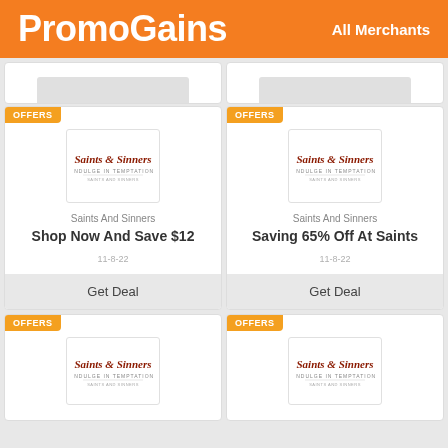PromoGains  All Merchants
[Figure (screenshot): Partial top merchant offer cards (cropped at top)]
OFFERS
[Figure (logo): Saints And Sinners logo]
Saints And Sinners
Shop Now And Save $12
11-8-22
Get Deal
OFFERS
[Figure (logo): Saints And Sinners logo]
Saints And Sinners
Saving 65% Off At Saints
11-8-22
Get Deal
OFFERS
[Figure (logo): Saints And Sinners logo]
OFFERS
[Figure (logo): Saints And Sinners logo]